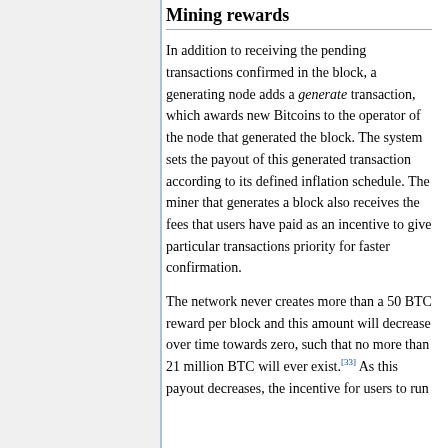Mining rewards
In addition to receiving the pending transactions confirmed in the block, a generating node adds a generate transaction, which awards new Bitcoins to the operator of the node that generated the block. The system sets the payout of this generated transaction according to its defined inflation schedule. The miner that generates a block also receives the fees that users have paid as an incentive to give particular transactions priority for faster confirmation.
The network never creates more than a 50 BTC reward per block and this amount will decrease over time towards zero, such that no more than 21 million BTC will ever exist.[33] As this payout decreases, the incentive for users to run